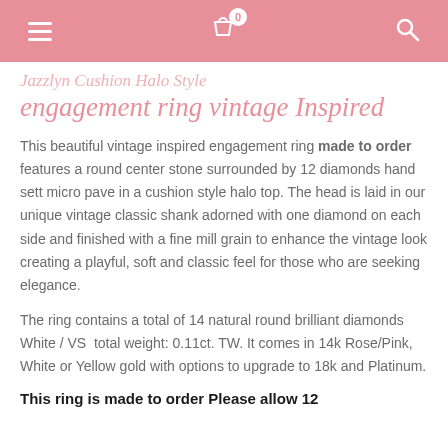Navigation bar with menu, cart (0), and search icons
Jazzlyn Cushion Halo Style engagement ring vintage Inspired
This beautiful vintage inspired engagement ring made to order features a round center stone surrounded by 12 diamonds hand sett micro pave in a cushion style halo top. The head is laid in our unique vintage classic shank adorned with one diamond on each side and finished with a fine mill grain to enhance the vintage look creating a playful, soft and classic feel for those who are seeking elegance.
The ring contains a total of 14 natural round brilliant diamonds White / VS  total weight: 0.11ct. TW. It comes in 14k Rose/Pink, White or Yellow gold with options to upgrade to 18k and Platinum.
This ring is made to order Please allow 12